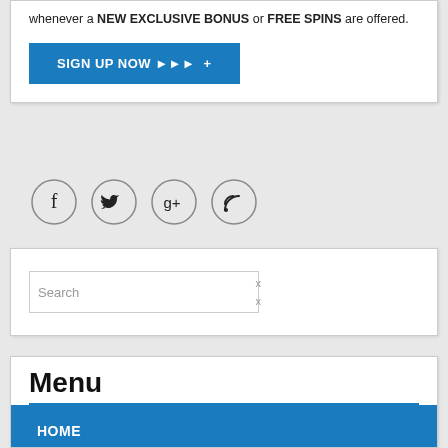whenever a NEW EXCLUSIVE BONUS or FREE SPINS are offered.
SIGN UP NOW ► ► ► +
[Figure (illustration): Four social media icon circles: Facebook (f), Twitter (bird), Google+ (g+), RSS (wifi/feed icon)]
Search
Menu
HOME
MICROGAMING